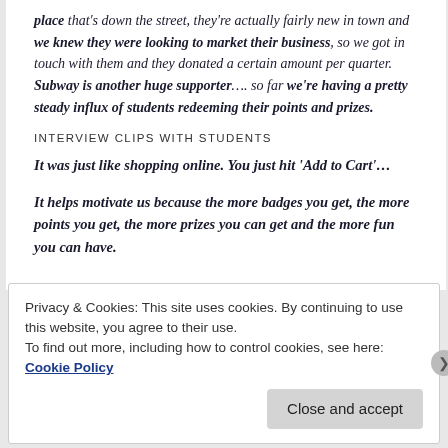place that's down the street, they're actually fairly new in town and we knew they were looking to market their business, so we got in touch with them and they donated a certain amount per quarter. Subway is another huge supporter…. so far we're having a pretty steady influx of students redeeming their points and prizes.
INTERVIEW CLIPS WITH STUDENTS
It was just like shopping online. You just hit 'Add to Cart'…
It helps motivate us because the more badges you get, the more points you get, the more prizes you can get and the more fun you can have.
Privacy & Cookies: This site uses cookies. By continuing to use this website, you agree to their use.
To find out more, including how to control cookies, see here: Cookie Policy